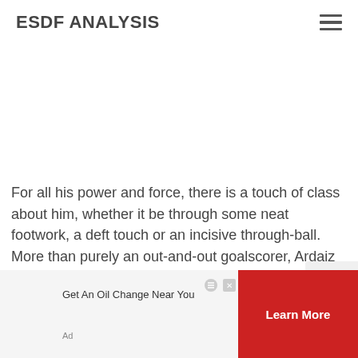ESDF ANALYSIS
For all his power and force, there is a touch of class about him, whether it be through some neat footwork, a deft touch or an incisive through-ball. More than purely an out-and-out goalscorer, Ardaiz possesses the qualities to be well-rounded forward who can provide as well as finish.
Get An Oil Change Near You
Learn More
Ad